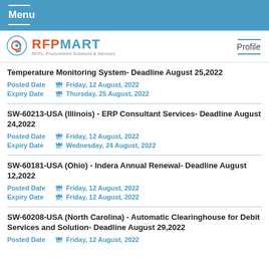Menu
[Figure (logo): RFPMART logo with tagline 'RFPs, Procurement Solutions & Services']
Profile
Temperature Monitoring System- Deadline August 25,2022
Posted Date: Friday, 12 August, 2022
Expiry Date: Thursday, 25 August, 2022
SW-60213-USA (Illinois) - ERP Consultant Services- Deadline August 24,2022
Posted Date: Friday, 12 August, 2022
Expiry Date: Wednesday, 24 August, 2022
SW-60181-USA (Ohio) - Indera Annual Renewal- Deadline August 12,2022
Posted Date: Friday, 12 August, 2022
Expiry Date: Friday, 12 August, 2022
SW-60208-USA (North Carolina) - Automatic Clearinghouse for Debit Services and Solution- Deadline August 29,2022
Posted Date: Friday, 12 August, 2022